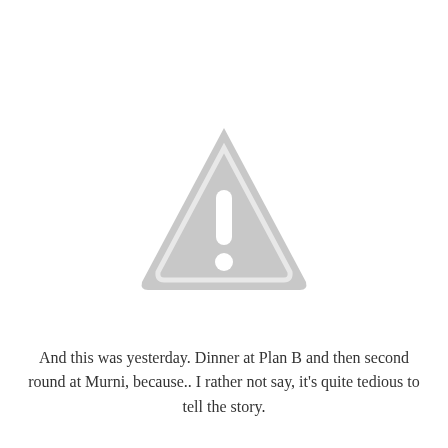[Figure (illustration): A grey warning/caution triangle icon with a white exclamation mark inside, with rounded corners on the triangle shape.]
And this was yesterday. Dinner at Plan B and then second round at Murni, because.. I rather not say, it's quite tedious to tell the story.